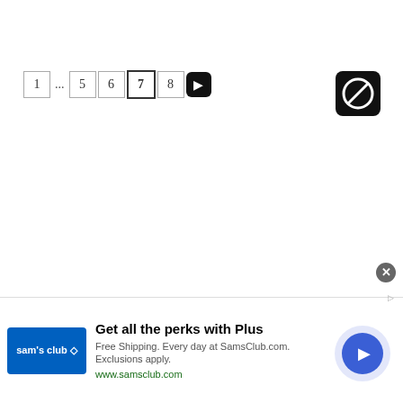[Figure (screenshot): Pagination control showing page numbers: 1 ... 5 6 [7] 8 and a next arrow button. Also a block/cancel icon in the top right corner.]
[Figure (infographic): Sam's Club advertisement banner at the bottom. Contains Sam's Club logo, headline 'Get all the perks with Plus', subtext 'Free Shipping. Every day at SamsClub.com. Exclusions apply.', URL 'www.samsclub.com', a close X button, ad indicator arrow, and a blue circular play/next button.]